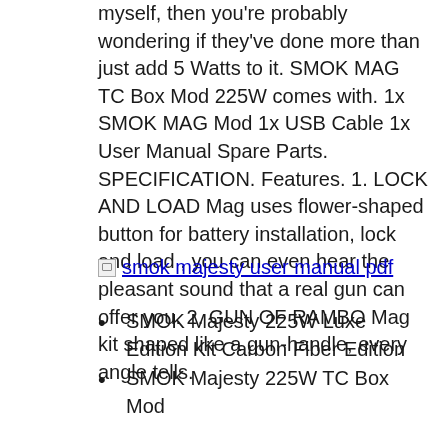myself, then you're probably wondering if they've done more than just add 5 Watts to it. SMOK MAG TC Box Mod 225W comes with. 1x SMOK MAG Mod 1x USB Cable 1x User Manual Spare Parts. SPECIFICATION. Features. 1. LOCK AND LOAD Mag uses flower-shaped button for battery installation, lock and load , you can even hear the pleasant sound that a real gun can offer you. 2. GUN OF RAMBO Mag kit shaped like a gun-handle, every angle tells.
[Figure (other): Broken image placeholder with alt text 'smok majesty user manual pdf']
SMOK Majesty 225W Luxe Edition Kit Carbon Fiber Edition
SMOK Majesty 225W TC Box Mod